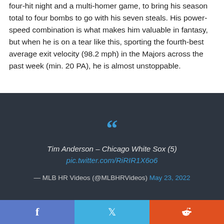four-hit night and a multi-homer game, to bring his season total to four bombs to go with his seven steals. His power-speed combination is what makes him valuable in fantasy, but when he is on a tear like this, sporting the fourth-best average exit velocity (98.2 mph) in the Majors across the past week (min. 20 PA), he is almost unstoppable.
[Figure (other): Embedded tweet blockquote on dark background (#2d3540) with blue quotation marks, italic white text reading 'Tim Anderson – Chicago White Sox (5) pic.twitter.com/RiRIR1X6o6', attributed to '— MLB HR Videos (@MLBHRVideos) May 23, 2022']
— MLB HR Videos (@MLBHRVideos) May 23, 2022